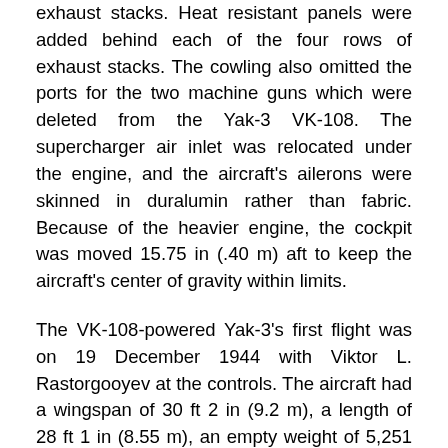exhaust stacks. Heat resistant panels were added behind each of the four rows of exhaust stacks. The cowling also omitted the ports for the two machine guns which were deleted from the Yak-3 VK-108. The supercharger air inlet was relocated under the engine, and the aircraft's ailerons were skinned in duralumin rather than fabric. Because of the heavier engine, the cockpit was moved 15.75 in (.40 m) aft to keep the aircraft's center of gravity within limits.
The VK-108-powered Yak-3's first flight was on 19 December 1944 with Viktor L. Rastorgooyev at the controls. The aircraft had a wingspan of 30 ft 2 in (9.2 m), a length of 28 ft 1 in (8.55 m), an empty weight of 5,251 lb (2,382 kg), and a loaded weight of 6,385 lb (2,896 kg). With no armament and a light fuel load, the Yak-3 VK-108 achieved a top speed of 463 mph (745 km/h) at 20,636 ft (6,290 m), making it the fastest piston-powered Soviet